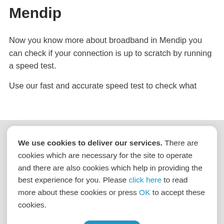Mendip
Now you know more about broadband in Mendip you can check if your connection is up to scratch by running a speed test.
Use our fast and accurate speed test to check what...
We use cookies to deliver our services. There are cookies which are necessary for the site to operate and there are also cookies which help in providing the best experience for you. Please click here to read more about these cookies or press OK to accept these cookies.